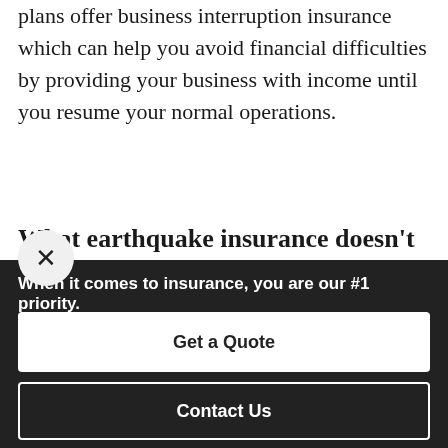plans offer business interruption insurance which can help you avoid financial difficulties by providing your business with income until you resume your normal operations.
What earthquake insurance doesn’t cover.
It’s important to understand what your earthquake insurance policy probably won’t cover so you can make
When it comes to insurance, you are our #1 priority.
Get a Quote
Contact Us